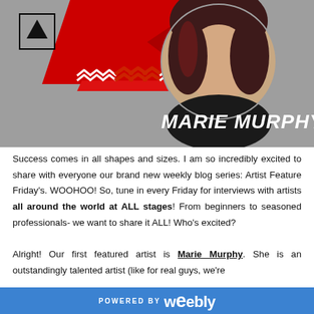[Figure (illustration): Hero banner image showing a circular portrait of Marie Murphy (woman with dark red hair, black top, necklace) against a grey background with red geometric chevron/triangle shapes and white chevron arrow decorations. White italic bold text reads 'MARIE MURPHY'. A small triangular logo appears in the top left.]
Success comes in all shapes and sizes. I am so incredibly excited to share with everyone our brand new weekly blog series: Artist Feature Friday's. WOOHOO! So, tune in every Friday for interviews with artists all around the world at ALL stages! From beginners to seasoned professionals- we want to share it ALL! Who's excited?

Alright! Our first featured artist is Marie Murphy. She is an outstandingly talented artist (like for real guys, we're
POWERED BY weebly